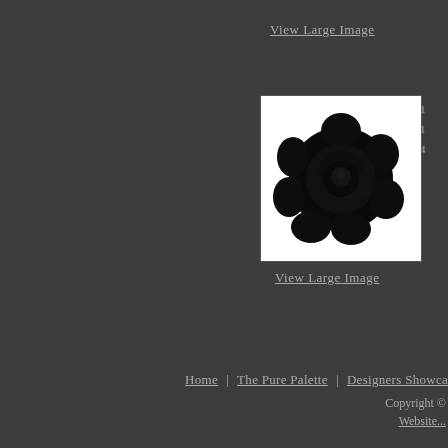View Large Image
[Figure (photo): Dark black rose/flower product image on white background, square format with thin border]
View Large Image
1
1
4
Home | The Pure Palette | Designers Showcase
Copyright © Website